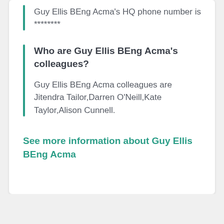Guy Ellis BEng Acma's HQ phone number is ********
Who are Guy Ellis BEng Acma's colleagues?
Guy Ellis BEng Acma colleagues are Jitendra Tailor,Darren O'Neill,Kate Taylor,Alison Cunnell.
See more information about Guy Ellis BEng Acma